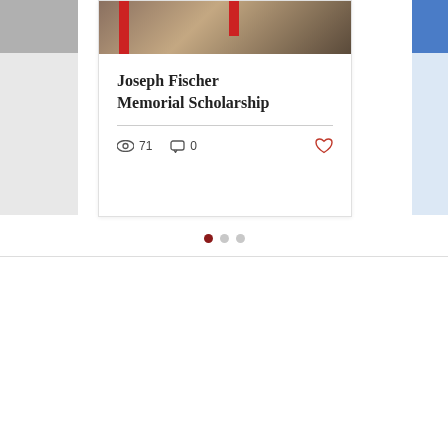[Figure (photo): Partial view of a card on the left edge showing a grey image area]
[Figure (photo): Center blog card with a photo showing items with red strips on a woven background, containing a title, view count, comment count, and like button]
Joseph Fischer Memorial Scholarship
71 views · 0 comments
[Figure (photo): Partial view of a card on the right edge showing a blue image area]